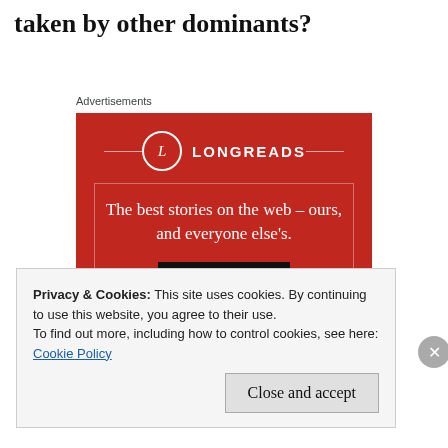taken by other dominants?
Advertisements
[Figure (illustration): Longreads advertisement: red background with 'LONGREADS' logo and text 'The best stories on the web – ours, and everyone else's.' with a 'Start reading' button.]
Privacy & Cookies: This site uses cookies. By continuing to use this website, you agree to their use.
To find out more, including how to control cookies, see here:
Cookie Policy
Close and accept